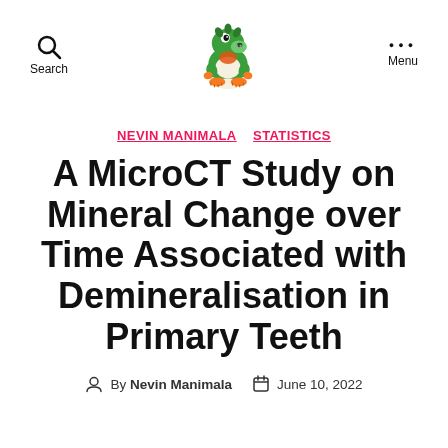Search | [Yoshi logo] | Menu
NEVIN MANIMALA  STATISTICS
A MicroCT Study on Mineral Change over Time Associated with Demineralisation in Primary Teeth
By Nevin Manimala  June 10, 2022